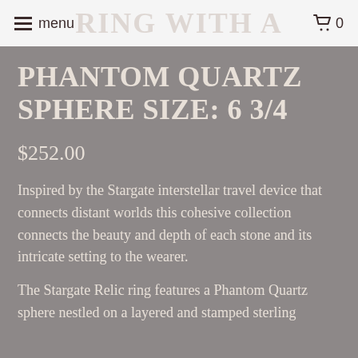menu  0
PHANTOM QUARTZ SPHERE SIZE: 6 3/4
$252.00
Inspired by the Stargate interstellar travel device that connects distant worlds this cohesive collection connects the beauty and depth of each stone and its intricate setting to the wearer.
The Stargate Relic ring features a Phantom Quartz sphere nestled on a layered and stamped sterling